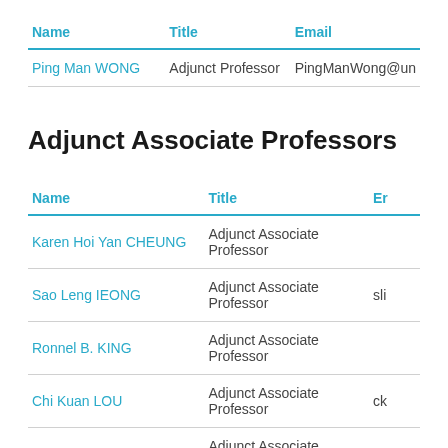| Name | Title | Email |
| --- | --- | --- |
| Ping Man WONG | Adjunct Professor | PingManWong@un |
Adjunct Associate Professors
| Name | Title | Er |
| --- | --- | --- |
| Karen Hoi Yan CHEUNG | Adjunct Associate Professor |  |
| Sao Leng IEONG | Adjunct Associate Professor | sli |
| Ronnel B. KING | Adjunct Associate Professor |  |
| Chi Kuan LOU | Adjunct Associate Professor | ck |
| Tian Shu ZHU | Adjunct Associate Professor |  |